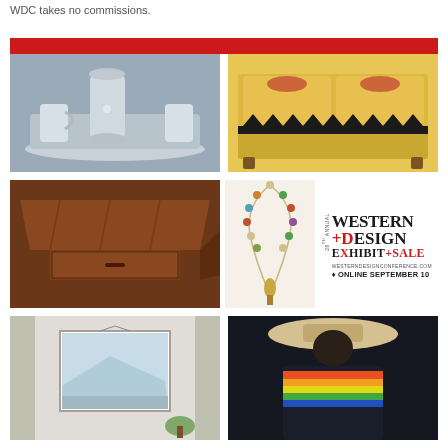WDC takes no commissions.
[Figure (photo): Red banner bar at top of advertisement]
[Figure (photo): Silver bar set with pitcher, tray, and glasses]
[Figure (photo): Yellow upholstered sofa with Native American horse motif embroidery and geometric trim]
[Figure (photo): Dark wood coffee table with open drawer]
[Figure (photo): Beaded necklace with colorful stones and pendant]
[Figure (logo): 28th Annual Western Design Exhibit+Sale logo with westerndesignconference.com and Online September 10]
[Figure (photo): Interior room with watercolor artwork hanging on wall]
[Figure (photo): Person wearing dark coat and large brimmed hat with colorful striped accents and fringe]